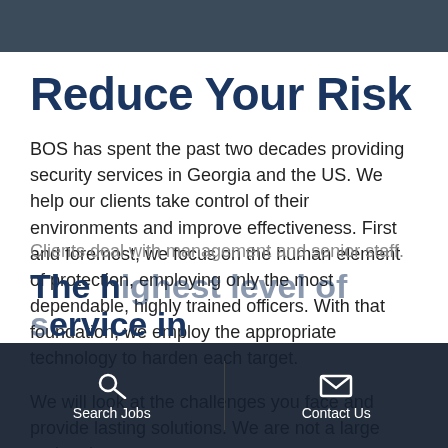[Figure (photo): Dark background header image showing people/crowd]
Reduce Your Risk
BOS has spent the past two decades providing security services in Georgia and the US. We help our clients take control of their environments and improve effectiveness. First and foremost, we focus on the human element of protection, employing only the most dependable, highly trained officers. With that foundation, we employ the appropriate technology to harden each target.
We will look at the challenges you face and provide lasting solutions. We are not a large national company. Clients deal with management and senior staff.
The highest level of service in
Search Jobs   Contact Us